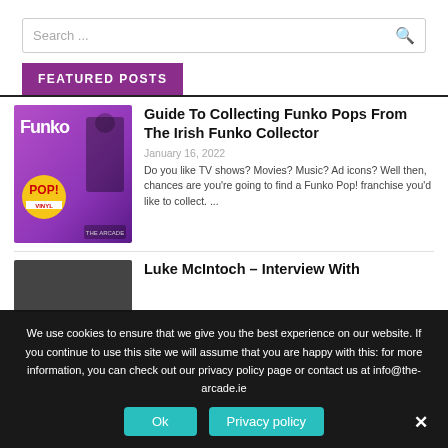Search ...
FEATURED POSTS
Guide To Collecting Funko Pops From The Irish Funko Collector
January 16, 2022
Do you like TV shows? Movies? Music? Ad icons? Well then, chances are you're going to find a Funko Pop! franchise you'd like to collect. ...
Luke McIntoch – Interview With
We use cookies to ensure that we give you the best experience on our website. If you continue to use this site we will assume that you are happy with this: for more information, you can check out our privacy policy page or contact us at info@the-arcade.ie